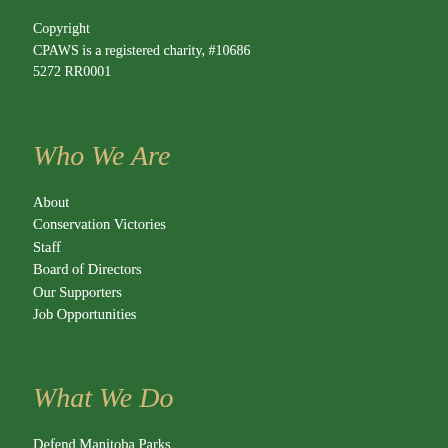Copyright
CPAWS is a registered charity, #10686
5272 RR0001
Who We Are
About
Conservation Victories
Staff
Board of Directors
Our Supporters
Job Opportunities
What We Do
Defend Manitoba Parks
Protect Polar Bears
The Seal River Watershed
The Fisher Bay Area
Hudson Bay Marine Conservation Area